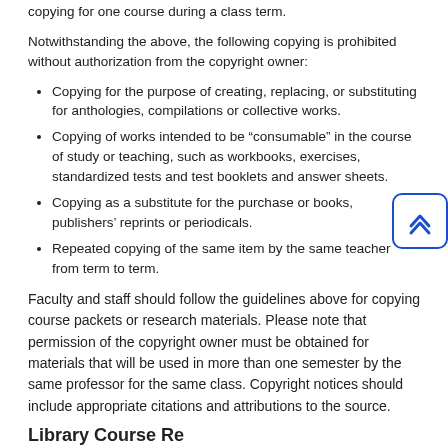copying for one course during a class term.
Notwithstanding the above, the following copying is prohibited without authorization from the copyright owner:
Copying for the purpose of creating, replacing, or substituting for anthologies, compilations or collective works.
Copying of works intended to be “consumable” in the course of study or teaching, such as workbooks, exercises, standardized tests and test booklets and answer sheets.
Copying as a substitute for the purchase or books, publishers’ reprints or periodicals.
Repeated copying of the same item by the same teacher from term to term.
Faculty and staff should follow the guidelines above for copying course packets or research materials. Please note that permission of the copyright owner must be obtained for materials that will be used in more than one semester by the same professor for the same class. Copyright notices should include appropriate citations and attributions to the source.
Library Course Re...